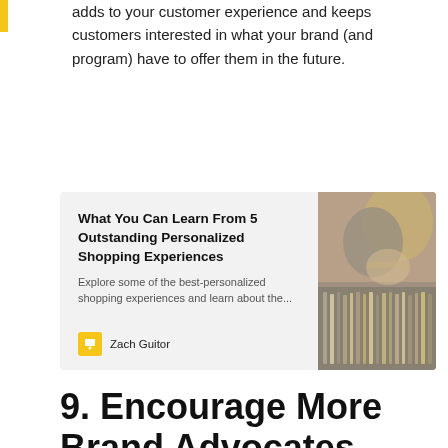adds to your customer experience and keeps customers interested in what your brand (and program) have to offer them in the future.
[Figure (screenshot): Article card with title 'What You Can Learn From 5 Outstanding Personalized Shopping Experiences', description 'Explore some of the best-personalized shopping experiences and learn about the...', author 'Zach Guitor', and a photo of people browsing records/files]
9. Encourage More Brand Advocates With a Referral Program